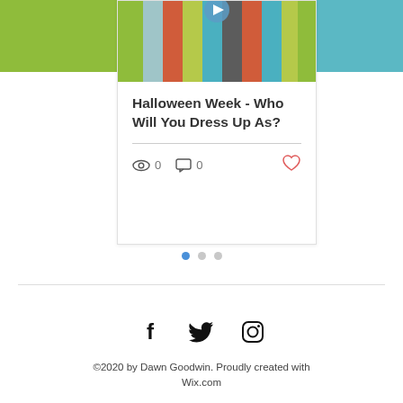[Figure (screenshot): Blog post card with colorful vertical stripe header image and title 'Halloween Week - Who Will You Dress Up As?' with view count 0, comment count 0, and a heart icon]
[Figure (infographic): Pagination dots: one filled blue dot and two grey dots]
[Figure (infographic): Social media icons: Facebook, Twitter, Instagram in black]
©2020 by Dawn Goodwin. Proudly created with Wix.com